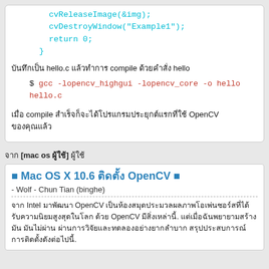cvReleaseImage(&img);
    cvDestroyWindow("Example1");
    return 0;
}
บันทึกเป็น hello.c แล้วทำการ compile ด้วยคำสั่ง hello
$ gcc -lopencv_highgui -lopencv_core -o hello hello.c
เมื่อ compile สำเร็จก็จะได้โปรแกรม OpenCV แรกของคุณ
จาก [mac os ผู้ใช้] ผู้ใช้
■ Mac OS X 10.6 ติดตั้ง OpenCV ■
- Wolf - Chun Tian (binghe)
จาก Intel มาพัฒนา OpenCV เป็นห้องสมุดประมวลผลภาพโอเพ่นซอร์สที่ได้รับความนิยมสูงสุดในโลก ด้วย OpenCV มีสิ่งเหล่านี้. แต่เมื่อฉันพยายามสร้างมัน มันไม่ผ่าน ผ่านการวิจัยและทดลองอย่างยากลำบาก สรุปประสบการณ์การติดตั้งดังต่อไปนี้.